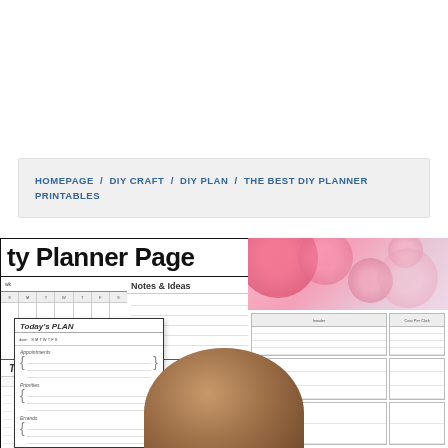HOMEPAGE / DIY CRAFT / DIY PLAN / THE BEST DIY PLANNER PRINTABLES
[Figure (photo): Collage of DIY planner printable pages including weekly planners, daily planners with braces, notes and ideas pages, and a pink floral decorative planner cover. A brown rounded object (wooden board) appears at the bottom center.]